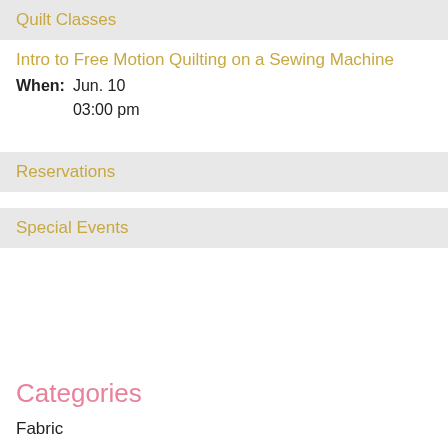Quilt Classes
Intro to Free Motion Quilting on a Sewing Machine
When: Jun. 10
03:00 pm
Reservations
Special Events
Categories
Fabric
Notions
Kit...